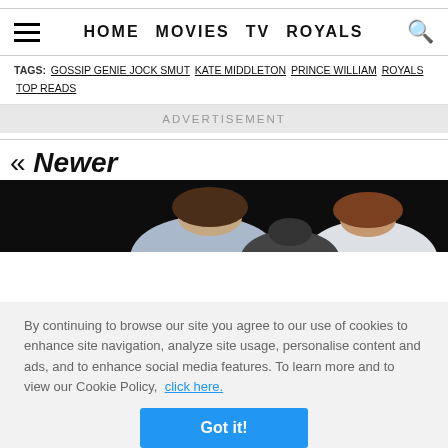HOME MOVIES TV ROYALS
TAGS: GOSSIP GENIE JOCK SMUT KATE MIDDLETON PRINCE WILLIAM ROYALS TOP READS
ADVERTISEMENT
« Newer
[Figure (photo): People seen from above/behind, dark background]
By continuing to browse our site you agree to our use of cookies to enhance site navigation, analyze site usage, personalise content and ads, and to enhance social media features. To learn more and to view our Cookie Policy, click here.
Got it!